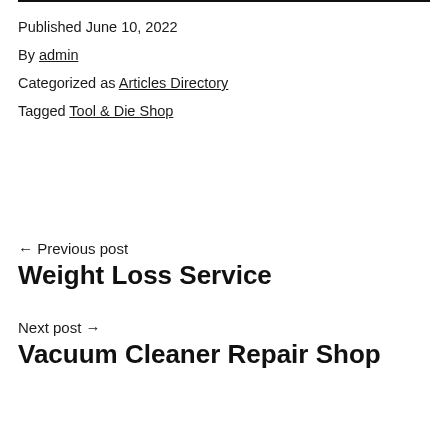Published June 10, 2022
By admin
Categorized as Articles Directory
Tagged Tool & Die Shop
← Previous post
Weight Loss Service
Next post →
Vacuum Cleaner Repair Shop